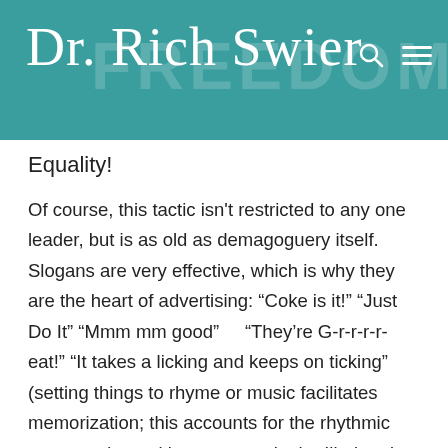Dr. Rich Swier
Equality!
Of course, this tactic isn't restricted to any one leader, but is as old as demagoguery itself. Slogans are very effective, which is why they are the heart of advertising: “Coke is it!” “Just Do It” “Mmm mm good”    “They’re G-r-r-r-r-eat!” “It takes a licking and keeps on ticking” (setting things to rhyme or music facilitates memorization; this accounts for the rhythmic meter and repetitive structure in the Iliad and the Odyssey and why the Homeric bards were able to memorize such tomes). Sure, producers